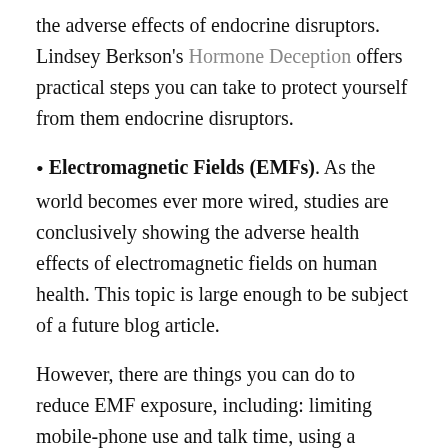the adverse effects of endocrine disruptors. Lindsey Berkson's Hormone Deception offers practical steps you can take to protect yourself from them endocrine disruptors.
Electromagnetic Fields (EMFs). As the world becomes ever more wired, studies are conclusively showing the adverse health effects of electromagnetic fields on human health. This topic is large enough to be subject of a future blog article.
However, there are things you can do to reduce EMF exposure, including: limiting mobile-phone use and talk time, using a speaker phone or headset for extended conversations, keeping routers and hotspots far away from users,